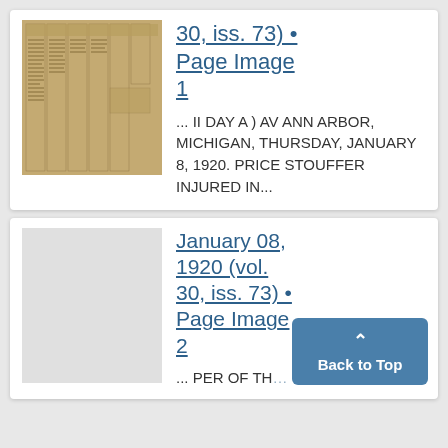[Figure (photo): Thumbnail image of a historical newspaper page, sepia-toned, showing columnar text layout typical of early 20th century newspapers.]
30, iss. 73) • Page Image 1
... II DAY A ) AV ANN ARBOR, MICHIGAN, THURSDAY, JANUARY 8, 1920. PRICE STOUFFER INJURED IN...
January 08, 1920 (vol. 30, iss. 73) • Page Image 2
... PER OF TH...